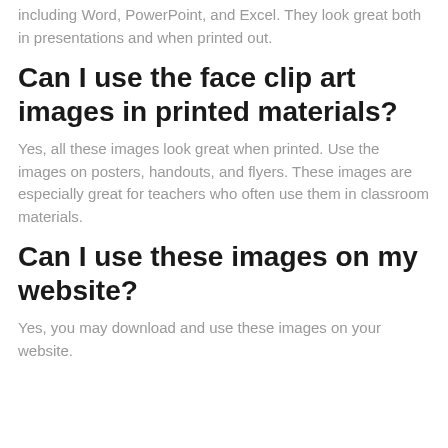including Word, PowerPoint, and Excel. They look great both in presentations and when printed out.
Can I use the face clip art images in printed materials?
Yes, all these images look great when printed. Use the images on posters, handouts, and flyers. These images are especially great for teachers who often use them in classroom materials.
Can I use these images on my website?
Yes, you may download and use these images on your website.